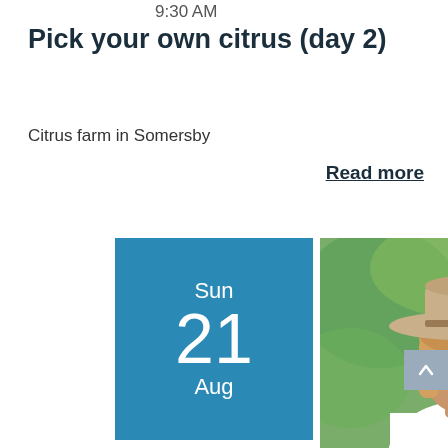9:30 AM
Pick your own citrus (day 2)
Citrus farm in Somersby
Read more
[Figure (other): Blue calendar tile showing Sun 21 Aug with date label]
2:00 PM
[Figure (photo): Woman wearing a wide-brim beige hat and white top, smiling, outdoors with green foliage background]